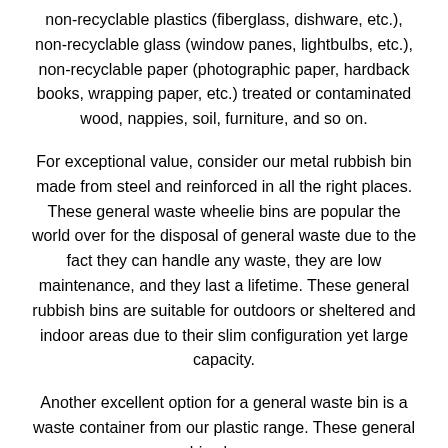non-recyclable plastics (fiberglass, dishware, etc.), non-recyclable glass (window panes, lightbulbs, etc.), non-recyclable paper (photographic paper, hardback books, wrapping paper, etc.) treated or contaminated wood, nappies, soil, furniture, and so on.
For exceptional value, consider our metal rubbish bin made from steel and reinforced in all the right places. These general waste wheelie bins are popular the world over for the disposal of general waste due to the fact they can handle any waste, they are low maintenance, and they last a lifetime. These general rubbish bins are suitable for outdoors or sheltered and indoor areas due to their slim configuration yet large capacity.
Another excellent option for a general waste bin is a waste container from our plastic range. These general bins have